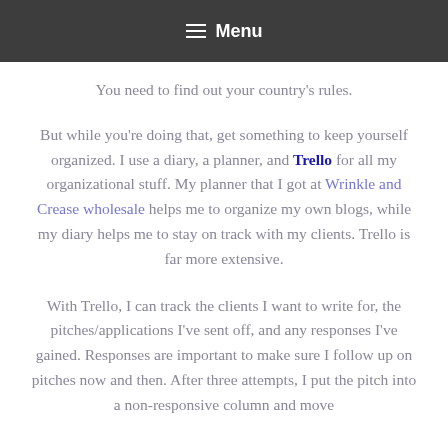Menu
You need to find out your country's rules.
But while you're doing that, get something to keep yourself organized. I use a diary, a planner, and Trello for all my organizational stuff. My planner that I got at Wrinkle and Crease wholesale helps me to organize my own blogs, while my diary helps me to stay on track with my clients. Trello is far more extensive.
With Trello, I can track the clients I want to write for, the pitches/applications I've sent off, and any responses I've gained. Responses are important to make sure I follow up on pitches now and then. After three attempts, I put the pitch into a non-responsive column and move